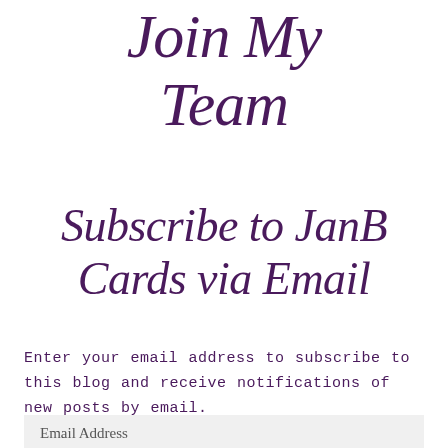Join My Team
Subscribe to JanB Cards via Email
Enter your email address to subscribe to this blog and receive notifications of new posts by email.
Email Address